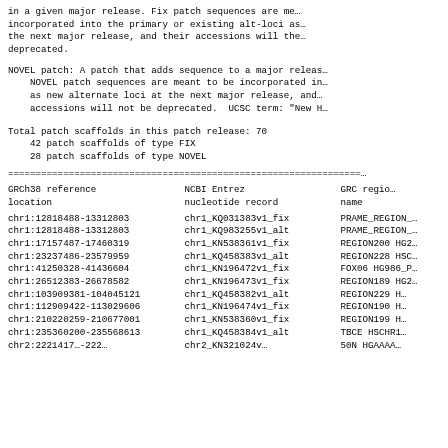in a given major release. Fix patch sequences are me
incorporated into the primary or existing alt-loci as
the next major release, and their accessions will the
deprecated.
NOVEL patch: A patch that adds sequence to a major releas
    NOVEL patch sequences are meant to be incorporated in
    as new alternate loci at the next major release, and
    accessions will not be deprecated.  UCSC term: "New H
Total patch scaffolds in this patch release: 70
    42 patch scaffolds of type FIX
    28 patch scaffolds of type NOVEL
================================================================
| GRCh38 reference location | NCBI Entrez nucleotide record | GRC region name |
| --- | --- | --- |
| chr1:12818488-13312803 | chr1_KQ031383v1_fix | PRAME_REGION_1 |
| chr1:12818488-13312803 | chr1_KQ983255v1_alt | PRAME_REGION_1 |
| chr1:17157487-17460319 | chr1_KN538361v1_fix | REGION200 HG20 |
| chr1:23237486-23579959 | chr1_KQ458383v1_alt | REGION228 HSCH |
| chr1:41250328-41436604 | chr1_KN196472v1_fix | FOX06 HG986_PA |
| chr1:26512383-26678582 | chr1_KN196473v1_fix | REGION189 HG20 |
| chr1:103909381-104045121 | chr1_KQ458382v1_alt | REGION229 H5 |
| chr1:112909422-113029606 | chr1_KN196474v1_fix | REGION190 H0 |
| chr1:210220259-210677001 | chr1_KN538360v1_fix | REGION199 H0 |
| chr1:235360200-235568613 | chr1_KQ458384v1_alt | TBCE HSCHR1 |
| chr2:23214175-23233270 | chr2_KN321024v1_fix | 50N HGAAAA |